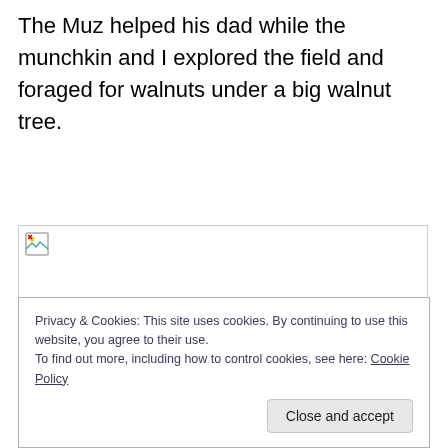The Muz helped his dad while the munchkin and I explored the field and foraged for walnuts under a big walnut tree.
[Figure (photo): Broken/unloaded image placeholder shown with a small broken image icon in the top-left corner of an outlined rectangle.]
Privacy & Cookies: This site uses cookies. By continuing to use this website, you agree to their use.
To find out more, including how to control cookies, see here: Cookie Policy
Close and accept